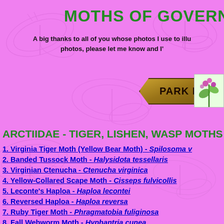MOTHS OF GOVERNO...
A big thanks to all of you whose photos I use to illu... photos, please let me know and I'...
[Figure (other): Brown 3D park map button]
[Figure (photo): Small photo of purple flowering plant]
[Figure (illustration): Watermark moth illustrations in pink background]
ARCTIIDAE - TIGER, LISHEN, WASP MOTHS
1. Virginia Tiger Moth (Yellow Bear Moth) - Spilosoma v...
2. Banded Tussock Moth - Halysidota tessellaris
3. Virginian Ctenucha - Ctenucha virginica
4. Yellow-Collared Scape Moth - Cisseps fulvicollis
5. Leconte's Haploa - Haploa lecontei
6. Reversed Haploa - Haploa reversa
7. Ruby Tiger Moth - Phragmatobia fuliginosa
8. Fall Webworm Moth - Hyphantria cunea
9. Painted Lichen Moth - Hypoprepia fucosa